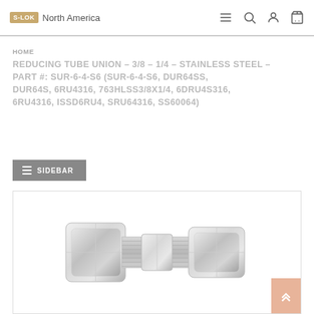S-LOK North America
HOME
REDUCING TUBE UNION – 3/8 – 1/4 – STAINLESS STEEL – PART #: SUR-6-4-S6 (SUR-6-4-S6, DUR64SS, DUR64S, 6RU4316, 763HLSS3/8X1/4, 6DRU4S316, 6RU4316, ISSD6RU4, SRU64316, SS60064)
SIDEBAR
[Figure (photo): Stainless steel reducing tube union fitting, showing two hexagonal compression nuts with threaded body in the center, photographed against a white background.]